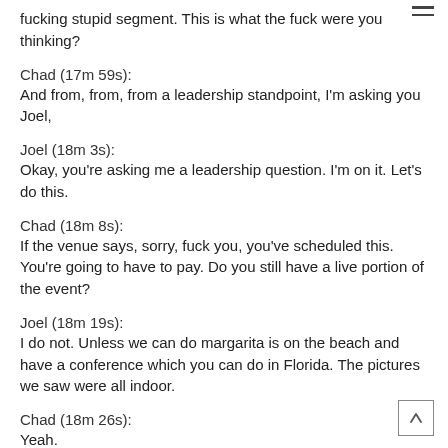fucking stupid segment. This is what the fuck were you thinking?
Chad (17m 59s):
And from, from, from a leadership standpoint, I'm asking you Joel,
Joel (18m 3s):
Okay, you're asking me a leadership question. I'm on it. Let's do this.
Chad (18m 8s):
If the venue says, sorry, fuck you, you've scheduled this. You're going to have to pay. Do you still have a live portion of the event?
Joel (18m 19s):
I do not. Unless we can do margarita is on the beach and have a conference which you can do in Florida. The pictures we saw were all indoor.
Chad (18m 26s):
Yeah.